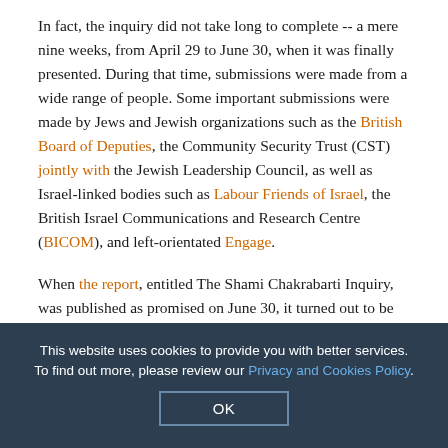In fact, the inquiry did not take long to complete -- a mere nine weeks, from April 29 to June 30, when it was finally presented. During that time, submissions were made from a wide range of people. Some important submissions were made by Jews and Jewish organizations such as the British Board of Deputies, the Community Security Trust (CST) jointly with the Jewish Leadership Council, as well as Israel-linked bodies such as Labour Friends of Israel, the British Israel Communications and Research Centre (BICOM), and left-orientated Engage.
When the report, entitled The Shami Chakrabarti Inquiry, was published as promised on June 30, it turned out to be what most Jews and pro-Israel activists had suspected it would be...
This website uses cookies to provide you with better services. To find out more, please review our Privacy and Cookies Policy.